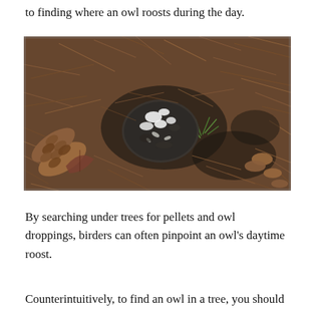to finding where an owl roosts during the day.
[Figure (photo): Close-up photograph of an owl pellet and white droppings on a forest floor covered with pine needles, pine cones, and dead leaves.]
By searching under trees for pellets and owl droppings, birders can often pinpoint an owl's daytime roost.
Counterintuitively, to find an owl in a tree, you should